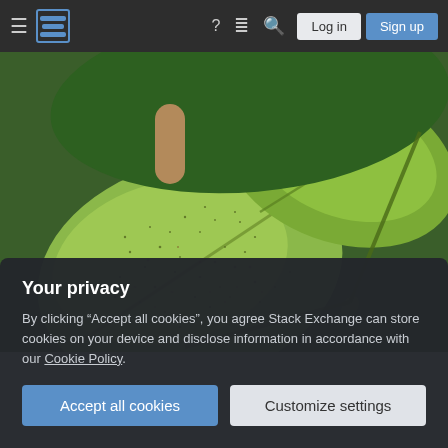Stack Exchange navigation bar with hamburger menu, logo, help, chat, search icons, Log in and Sign up buttons
[Figure (photo): Close-up macro photograph of green plant leaves with small brown/dark speckles, possibly showing mite or insect damage on the leaf surface. A finger is partially visible at the top left edge.]
Your privacy
By clicking "Accept all cookies", you agree Stack Exchange can store cookies on your device and disclose information in accordance with our Cookie Policy.
Accept all cookies
Customize settings